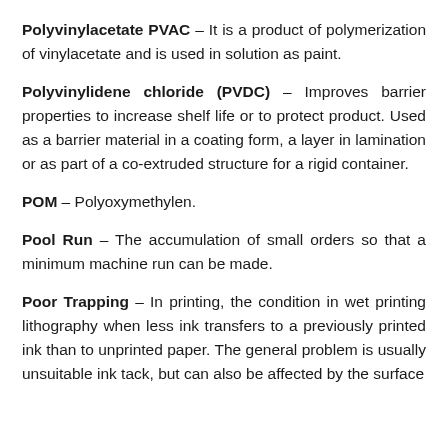Polyvinylacetate PVAC – It is a product of polymerization of vinylacetate and is used in solution as paint.
Polyvinylidene chloride (PVDC) – Improves barrier properties to increase shelf life or to protect product. Used as a barrier material in a coating form, a layer in lamination or as part of a co-extruded structure for a rigid container.
POM – Polyoxymethylen.
Pool Run – The accumulation of small orders so that a minimum machine run can be made.
Poor Trapping – In printing, the condition in wet printing lithography when less ink transfers to a previously printed ink than to unprinted paper. The general problem is usually unsuitable ink tack, but can also be affected by the surface